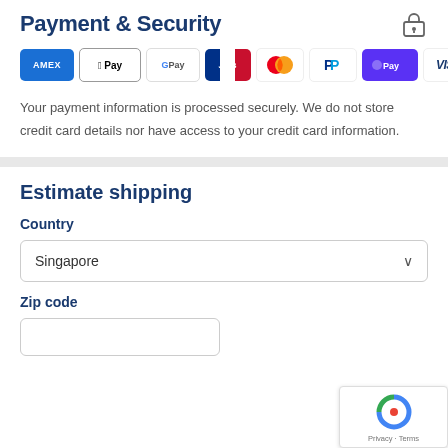Payment & Security
[Figure (logo): Payment method icons: AMEX, Apple Pay, Google Pay, JCB, Mastercard, PayPal, Shop Pay, Visa]
Your payment information is processed securely. We do not store credit card details nor have access to your credit card information.
Estimate shipping
Country
Singapore
Zip code